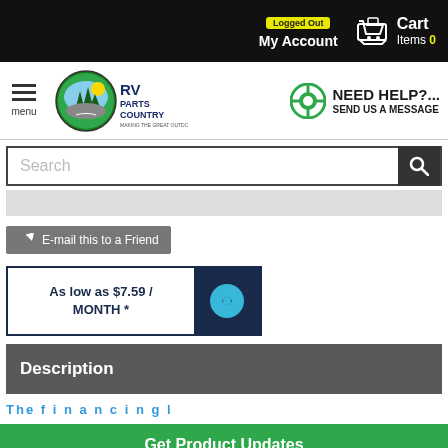Logged Out | My Account | Cart Items 0
[Figure (logo): RV Parts Country logo with menu icon and Need Help Send Us A Message help section]
Search
E-mail this to a Friend
As low as $7.59 / MONTH *
Description
Get Product Updates
Enter email for newsletter
Facebook Twitter social icons, back to top arrow